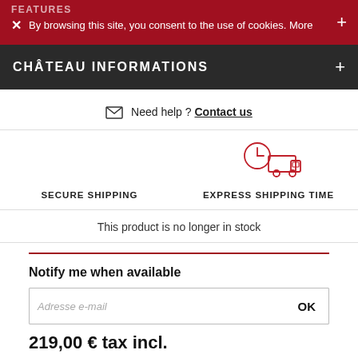FEATURES
By browsing this site, you consent to the use of cookies. More
CHÂTEAU INFORMATIONS
Need help ? Contact us
[Figure (illustration): Red outline icon of a delivery truck with a clock, representing express shipping time]
SECURE SHIPPING
EXPRESS SHIPPING TIME
This product is no longer in stock
Notify me when available
Adresse e-mail
OK
219,00 € tax incl.
182,50 € VAT Excl